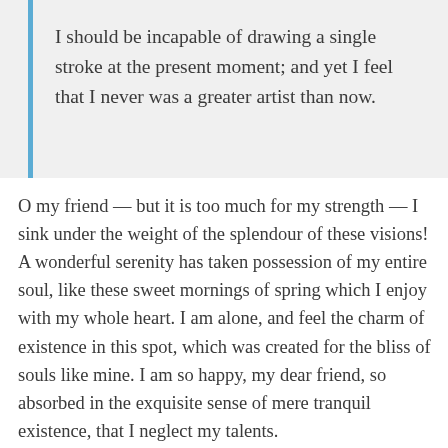I should be incapable of drawing a single stroke at the present moment; and yet I feel that I never was a greater artist than now.
O my friend — but it is too much for my strength — I sink under the weight of the splendour of these visions! A wonderful serenity has taken possession of my entire soul, like these sweet mornings of spring which I enjoy with my whole heart. I am alone, and feel the charm of existence in this spot, which was created for the bliss of souls like mine. I am so happy, my dear friend, so absorbed in the exquisite sense of mere tranquil existence, that I neglect my talents.
When, while the lovely valley teems with vapour around me, and the meridian sun strikes the upper surface of